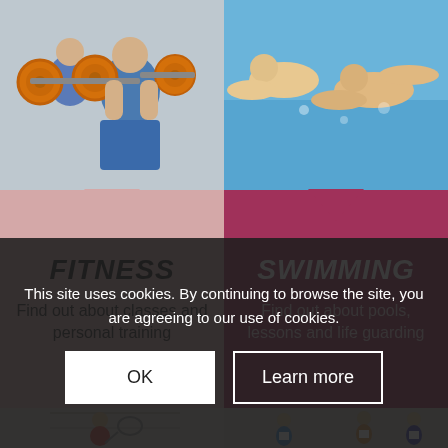[Figure (photo): People lifting weights with orange weight plates in a gym setting]
[Figure (photo): People swimming underwater in a pool]
FITNESS
Find out about classes and personal training
SWIMMING
Find out about pools, lessons and life guarding
[Figure (photo): Person playing squash on a squash court]
[Figure (photo): People running in a race event with numbered bibs]
This site uses cookies. By continuing to browse the site, you are agreeing to our use of cookies.